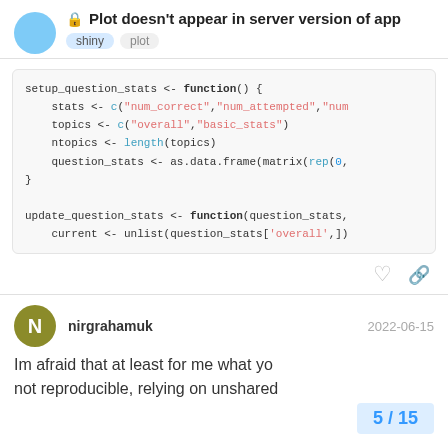Plot doesn't appear in server version of app
shiny  plot
[Figure (screenshot): R code block showing setup_question_stats and update_question_stats functions with syntax highlighting]
nirgrahamuk  2022-06-15
Im afraid that at least for me what yo... not reproducible, relying on unshared